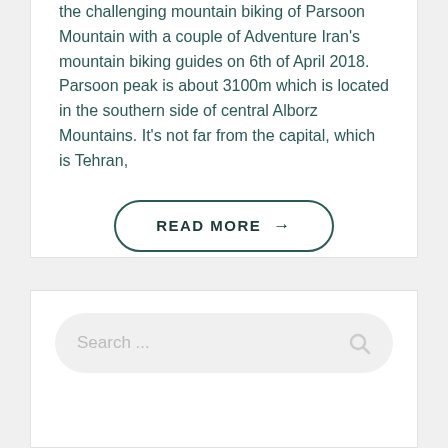the challenging mountain biking of Parsoon Mountain with a couple of Adventure Iran's mountain biking guides on 6th of April 2018. Parsoon peak is about 3100m which is located in the southern side of central Alborz Mountains. It's not far from the capital, which is Tehran,
READ MORE →
[Figure (infographic): Social sharing icons row: Facebook, Twitter, LinkedIn, Pinterest]
Search ...